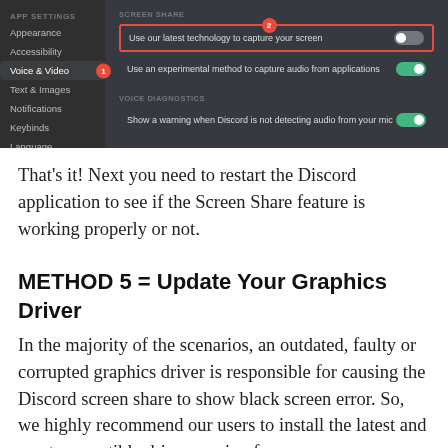[Figure (screenshot): Discord settings screenshot showing APP SETTINGS sidebar with Voice & Video selected (labeled 1), and Screen Share section on the right with 'Use our latest technology to capture your screen' option highlighted in red border (labeled 2), plus 'Use an experimental method to capture audio from applications' toggle set to on, and VOICE DIAGNOSTICS section showing 'Show a warning when Discord is not detecting audio from your mic' toggle set to on.]
That's it! Next you need to restart the Discord application to see if the Screen Share feature is working properly or not.
METHOD 5 = Update Your Graphics Driver
In the majority of the scenarios, an outdated, faulty or corrupted graphics driver is responsible for causing the Discord screen share to show black screen error. So, we highly recommend our users to install the latest and most compatible driver version for your